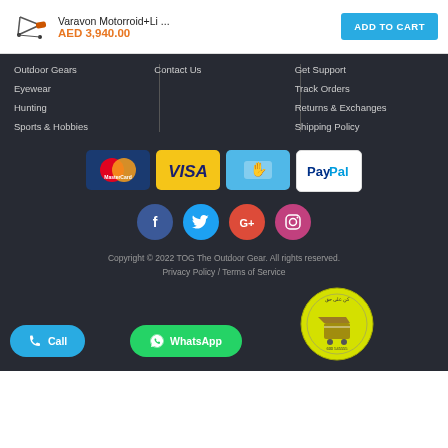Varavon Motorroid+Li ...
AED 3,940.00
ADD TO CART
Outdoor Gears
Contact Us
Get Support
Eyewear
Track Orders
Hunting
Returns & Exchanges
Sports & Hobbies
Shipping Policy
[Figure (logo): Payment method logos: MasterCard, VISA, money transfer icon, PayPal]
[Figure (infographic): Social media icons: Facebook, Twitter, Google+, Instagram]
Copyright © 2022 TOG The Outdoor Gear. All rights reserved.
Privacy Policy / Terms of Service
[Figure (logo): Yellow circular badge with Arabic text and shopping cart image, 600 545555]
Call
WhatsApp